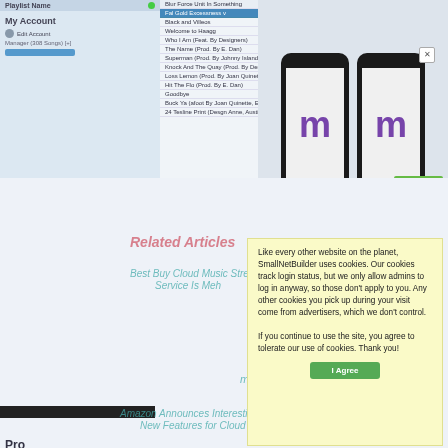[Figure (screenshot): Background screenshot of a music streaming web application showing a playlist panel on the left with song list, and mobile app mockups on the right showing an 'm' logo with a 'Coming Soon' badge. Background shows related articles links in teal/red text.]
Like every other website on the planet, SmallNetBuilder uses cookies. Our cookies track login status, but we only allow admins to log in anyway, so those don't apply to you. Any other cookies you pick up during your visit come from advertisers, which we don't control.
If you continue to use the site, you agree to tolerate our use of cookies. Thank you!
I Agree